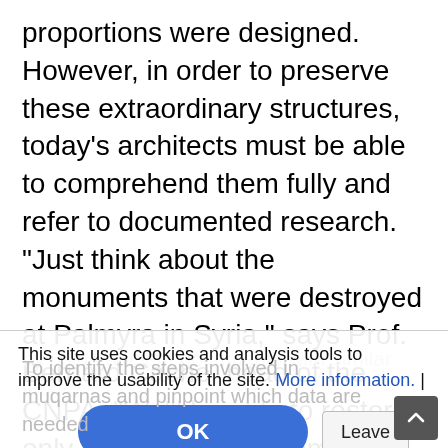proportions were designed. However, in order to preserve these extraordinary structures, today's architects must be able to comprehend them fully and refer to documented research. "Just think about the monuments that were destroyed at Palmyra in Syria," says Prof. Bernard Cache, head of the CNPA. "We'll be able to restore only those for which computer models are available." Pérez-Blanco adds that the Alhambra complex is located in the most seismically active region in Spain.
This site uses cookies and analysis tools to improve the usability of the site. More information. |